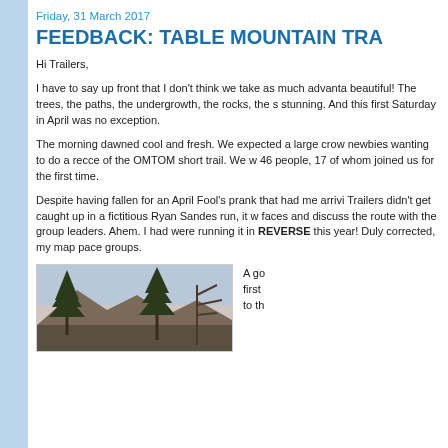Friday, 31 March 2017
FEEDBACK: TABLE MOUNTAIN TRA
Hi Trailers,
I have to say up front that I don't think we take as much advanta beautiful! The trees, the paths, the undergrowth, the rocks, the s stunning. And this first Saturday in April was no exception.
The morning dawned cool and fresh. We expected a large cro newbies wanting to do a recce of the OMTOM short trail. We w 46 people, 17 of whom joined us for the first time.
Despite having fallen for an April Fool's prank that had me arrivi Trailers didn't get caught up in a fictitious Ryan Sandes run, it w faces and discuss the route with the group leaders. Ahem. I had were running it in REVERSE this year! Duly corrected, my map pace groups.
[Figure (photo): Outdoor photo showing trees and mountainous landscape, likely Table Mountain area with pine trees visible against the sky.]
A go first to th